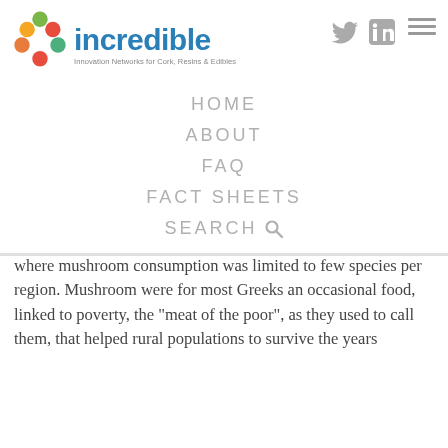[Figure (logo): INCREDIBLE project logo with colorful connected circles and text 'incredible - Innovation Networks for Cork, Resins & Edibles']
[Figure (other): Twitter bird icon (grey)]
[Figure (other): LinkedIn icon (grey)]
[Figure (other): Hamburger menu icon (three grey lines)]
HOME
ABOUT
FAQ
FACT SHEETS
SEARCH
where mushroom consumption was limited to few species per region. Mushroom were for most Greeks an occasional food, linked to poverty, the "meat of the poor", as they used to call them, that helped rural populations to survive the years